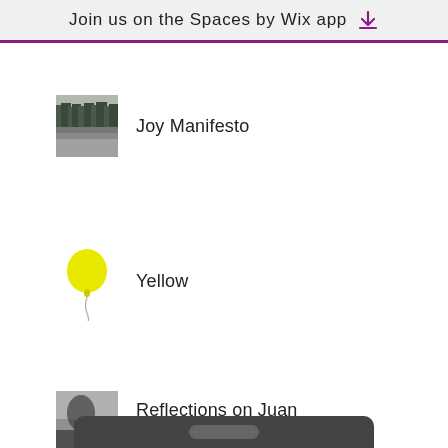Join us on the Spaces by Wix app
Joy Manifesto
Yellow
Reflections on Juan De Fuca